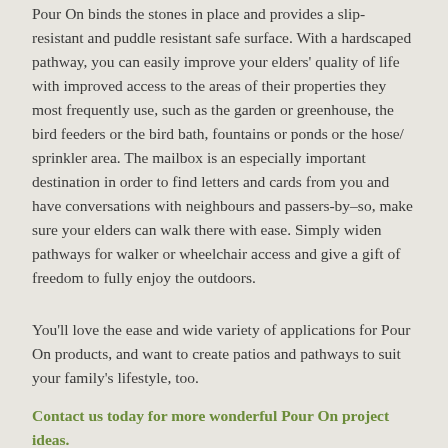Pour On binds the stones in place and provides a slip-resistant and puddle resistant safe surface. With a hardscaped pathway, you can easily improve your elders' quality of life with improved access to the areas of their properties they most frequently use, such as the garden or greenhouse, the bird feeders or the bird bath, fountains or ponds or the hose/ sprinkler area. The mailbox is an especially important destination in order to find letters and cards from you and have conversations with neighbours and passers-by–so, make sure your elders can walk there with ease. Simply widen pathways for walker or wheelchair access and give a gift of freedom to fully enjoy the outdoors.
You'll love the ease and wide variety of applications for Pour On products, and want to create patios and pathways to suit your family's lifestyle, too.
Contact us today for more wonderful Pour On project ideas.